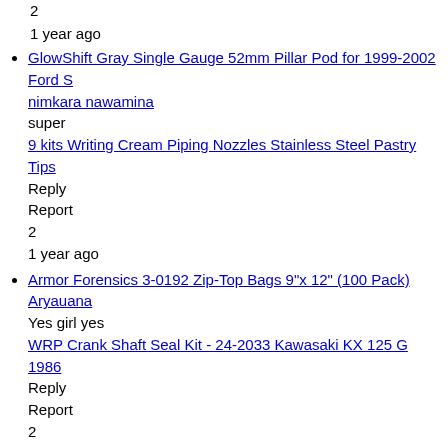2
1 year ago
GlowShift Gray Single Gauge 52mm Pillar Pod for 1999-2002 Ford S
nimkara nawamina
super
9 kits Writing Cream Piping Nozzles Stainless Steel Pastry Tips
Reply
Report
2
1 year ago
Armor Forensics 3-0192 Zip-Top Bags 9"x 12" (100 Pack)
Aryauana
Yes girl yes
WRP Crank Shaft Seal Kit - 24-2033 Kawasaki KX 125 G 1986
Reply
Report
2
1 year ago
Digital Equipment (DEC) h4005 E-net transceiver. p/n: 70-22781-0
shairmaine
this is cool u knoe its has always been my dream to be a